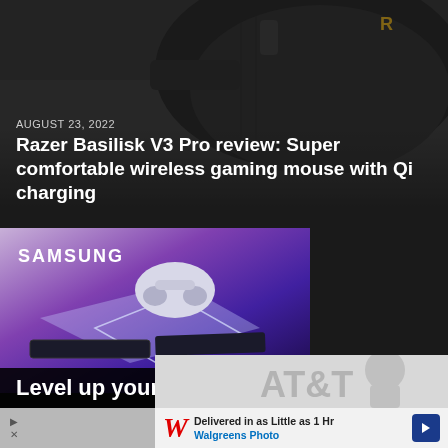[Figure (photo): Close-up photo of a black Razer gaming mouse with textured surface, partial view showing the top and side of the mouse against a grey background]
AUGUST 23, 2022
Razer Basilisk V3 Pro review: Super comfortable wireless gaming mouse with Qi charging
[Figure (photo): Samsung advertisement showing a PlayStation controller and two Samsung NVMe SSDs on a purple/lavender background with the Samsung logo]
Level up your
No compatible source was found for this media.
[Figure (photo): Walgreens Photo advertisement showing delivered in as little as 1 Hr with Walgreens logo and navigation arrow]
Delivered in as Little as 1 Hr
Walgreens Photo
[Figure (photo): AT&T advertisement partial view with AT&T text logo]